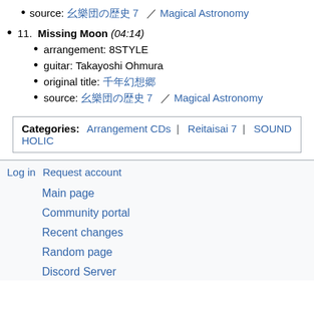source: 幺樂団の歴史７ ／ Magical Astronomy
11. Missing Moon (04:14)
arrangement: 8STYLE
guitar: Takayoshi Ohmura
original title: 千年幻想郷
source: 幺樂団の歴史７ ／ Magical Astronomy
Categories: Arrangement CDs | Reitaisai 7 | SOUND HOLIC
Log in  Request account
Main page
Community portal
Recent changes
Random page
Discord Server